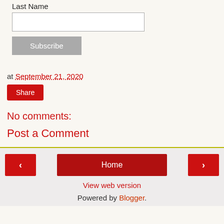Last Name
[input box]
Subscribe
at September 21, 2020
Share
No comments:
Post a Comment
< (previous)
Home
> (next)
View web version
Powered by Blogger.